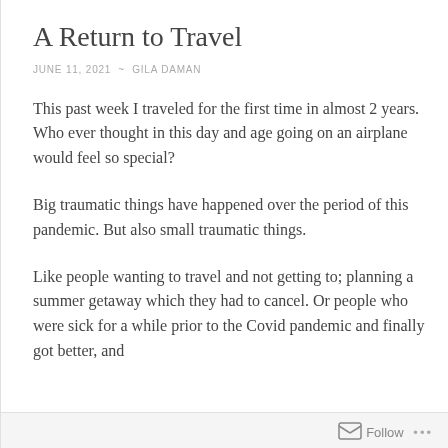A Return to Travel
JUNE 11, 2021 ~ GILA DAMAN
This past week I traveled for the first time in almost 2 years. Who ever thought in this day and age going on an airplane would feel so special?
Big traumatic things have happened over the period of this pandemic. But also small traumatic things.
Like people wanting to travel and not getting to; planning a summer getaway which they had to cancel. Or people who were sick for a while prior to the Covid pandemic and finally got better, and
Follow